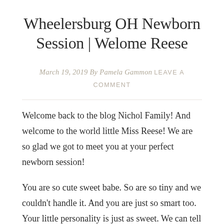Wheelersburg OH Newborn Session | Welome Reese
March 19, 2019 By Pamela Gammon LEAVE A COMMENT
Welcome back to the blog Nichol Family! And welcome to the world little Miss Reese! We are so glad we got to meet you at your perfect newborn session!
You are so cute sweet babe. So are so tiny and we couldn't handle it. And you are just so smart too. Your little personality is just as sweet. We can tell